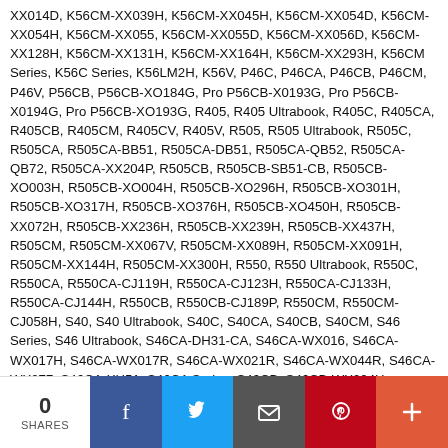XX014D, K56CM-XX039H, K56CM-XX045H, K56CM-XX054D, K56CM-XX054H, K56CM-XX055, K56CM-XX055D, K56CM-XX056D, K56CM-XX128H, K56CM-XX131H, K56CM-XX164H, K56CM-XX293H, K56CM Series, K56C Series, K56LM2H, K56V, P46C, P46CA, P46CB, P46CM, P46V, P56CB, P56CB-XO184G, Pro P56CB-X0193G, Pro P56CB-X0194G, Pro P56CB-XO193G, R405, R405 Ultrabook, R405C, R405CA, R405CB, R405CM, R405CV, R405V, R505, R505 Ultrabook, R505C, R505CA, R505CA-BB51, R505CA-DB51, R505CA-QB52, R505CA-QB72, R505CA-XX204P, R505CB, R505CB-SB51-CB, R505CB-XO003H, R505CB-XO004H, R505CB-XO296H, R505CB-XO301H, R505CB-XO317H, R505CB-XO376H, R505CB-XO450H, R505CB-XX072H, R505CB-XX236H, R505CB-XX239H, R505CB-XX437H, R505CM, R505CM-XX067V, R505CM-XX089H, R505CM-XX091H, R505CM-XX144H, R505CM-XX300H, R550, R550 Ultrabook, R550C, R550CA, R550CA-CJ119H, R550CA-CJ123H, R550CA-CJ133H, R550CA-CJ144H, R550CB, R550CB-CJ189P, R550CM, R550CM-CJ058H, S40, S40 Ultrabook, S40C, S40CA, S40CB, S40CM, S46 Series, S46 Ultrabook, S46CA-DH31-CA, S46CA-WX016, S46CA-WX017H, S46CA-WX017R, S46CA-WX021R, S46CA-WX044R, S46CA-WX077, S46CA-XH51, S46CA Series, S46CB, S46CB-WX004H, S46CB-WX005H, S46CB-WX020H, S46CB-WX027H, S46CB-WX028H, S46CB-WX044H, S46CB-WX052H, S46CB-WX058H, S46CB-WX072, S46CB-WX119H, S46CM-DH51-CA, S46CM-DH71-CA, S46CM-V2G, S46CM-WX023V, S46CM-WX046V, S46CM-WX049D, S46CM-WX050H, S46CM-WX053R, S46CM-WX101H, S46CM-WX104H, S46CM-WX107H, S46CM Series, S46C Series...
[Figure (infographic): Social sharing bar at the bottom with 0 SHARES count on the left, followed by Facebook (blue), Twitter (light blue), Email (dark gray), Pinterest (red), and More/Plus (orange-red) buttons.]